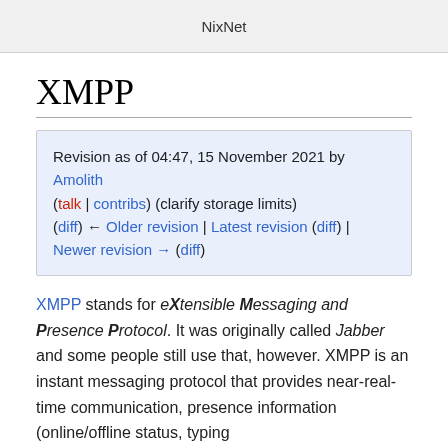NixNet
XMPP
Revision as of 04:47, 15 November 2021 by Amolith (talk | contribs) (clarify storage limits)
(diff) ← Older revision | Latest revision (diff) | Newer revision → (diff)
XMPP stands for eXtensible Messaging and Presence Protocol. It was originally called Jabber and some people still use that, however. XMPP is an instant messaging protocol that provides near-real-time communication, presence information (online/offline status, typing